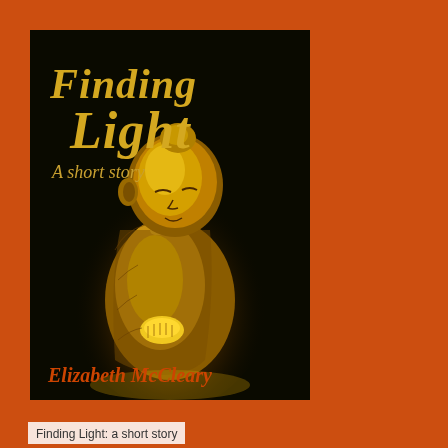[Figure (illustration): Book cover for 'Finding Light: A short story' by Elizabeth McCleary. Black background with a golden glowing Buddha statue in a prayer pose. Title text 'Finding Light' in large gold italic font, 'A short story' in smaller gold italic, and author name 'Elizabeth McCleary' in orange/red bold italic at the bottom.]
Finding Light: a short story